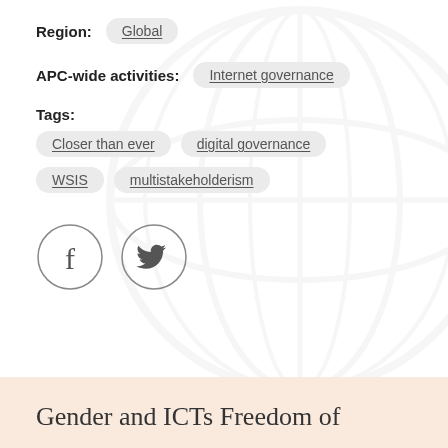Region: Global
APC-wide activities: Internet governance
Tags:
Closer than ever
digital governance
WSIS
multistakeholderism
[Figure (illustration): Social media icons: Facebook and Twitter, each in a circle outline]
Gender and ICTs Freedom of